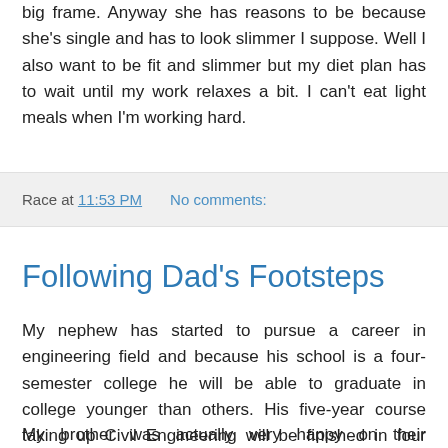big frame. Anyway she has reasons to be because she's single and has to look slimmer I suppose. Well I also want to be fit and slimmer but my diet plan has to wait until my work relaxes a bit. I can't eat light meals when I'm working hard.
Race at 11:53 PM    No comments:
Following Dad's Footsteps
My nephew has started to pursue a career in engineering field and because his school is a four-semester college he will be able to graduate in college younger than others. His five-year course taking up Civil Engineering will be finished in four years' time thus a strict study schedule is a must. As of my last conversation to him he told me that he's fairly coping up with the pressure of studies and he has his Dad to teach him whatever he ask because he's taking up the same career of his father.
My brother was actually very happy on their enrolment that